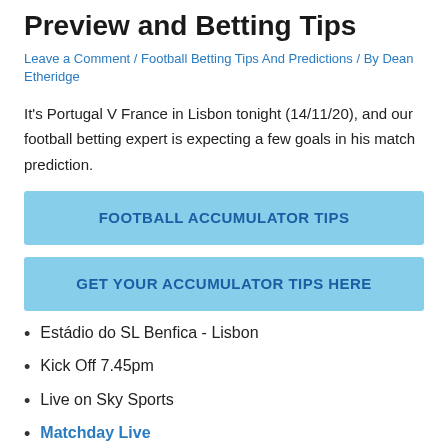Preview and Betting Tips
Leave a Comment / Football Betting Tips And Predictions / By Dean Etheridge
It's Portugal V France in Lisbon tonight (14/11/20), and our football betting expert is expecting a few goals in his match prediction.
FOOTBALL ACCUMULATOR TIPS
GET YOUR ACCUMULATOR TIPS HERE
Estádio do SL Benfica - Lisbon
Kick Off 7.45pm
Live on Sky Sports
Matchday Live